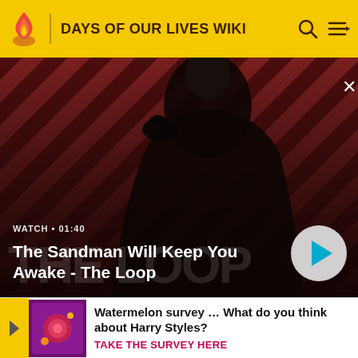DAYS OF OUR LIVES WIKI
[Figure (screenshot): Video thumbnail showing a dark-dressed figure with a raven on shoulder against red and dark diagonal striped background. Title overlay reads 'The Sandman Will Keep You Awake - The Loop'. Watch time label shows 'WATCH • 01:40'. Play button in bottom right.]
together. Melanie urged Abigail to tell the truth. Abigail confe[ssed] affai[r] confe[ssion] ruinin[g]
[Figure (infographic): Advertisement banner with purple/magenta graphic image on left, text reading 'Watermelon survey … What do you think about Harry Styles?' with CTA 'TAKE THE SURVEY HERE']